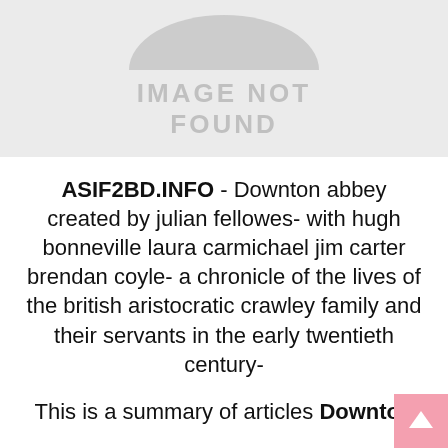[Figure (other): Image not found placeholder with grey background and icon]
ASIF2BD.INFO - Downton abbey created by julian fellowes- with hugh bonneville laura carmichael jim carter brendan coyle- a chronicle of the lives of the british aristocratic crawley family and their servants in the early twentieth century-
This is a summary of articles Downton